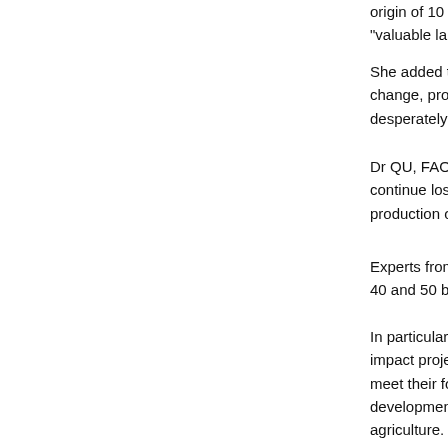origin of 10 percent o... "valuable land and w...
She added that redu... change, protect natu... desperately need tha...
Dr QU, FAO’s head, ... continue losing 75 bi... production of fruit an...
Experts from FAO es... 40 and 50 billion doll...
In particular, they hig... impact projects that ... meet their food need... development and dig... agriculture.